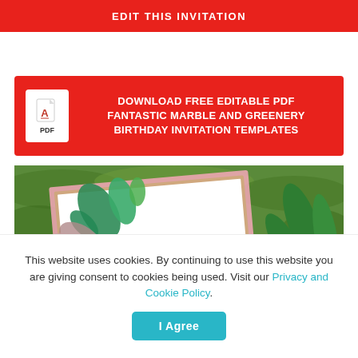EDIT THIS INVITATION
[Figure (infographic): Red banner with PDF icon and text: DOWNLOAD FREE EDITABLE PDF FANTASTIC MARBLE AND GREENERY BIRTHDAY INVITATION TEMPLATES]
[Figure (photo): Photo of a marble and greenery birthday invitation card with pink glitter border, decorated with green and mauve leaves, partially showing text 'Join us for a birthday party celebrating Name', placed on a green mossy garden background with plants]
This website uses cookies. By continuing to use this website you are giving consent to cookies being used. Visit our Privacy and Cookie Policy.
I Agree